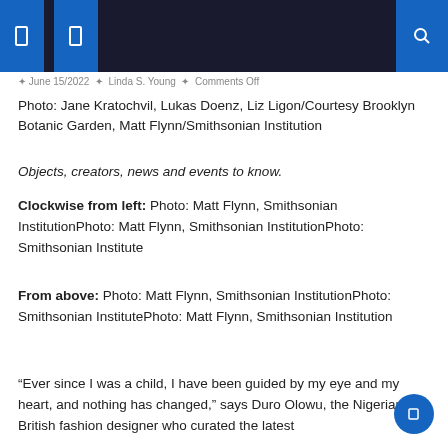[navigation icons] [search icon]
June 15/2022 · Linda S. Young · Comments Off
Photo: Jane Kratochvil, Lukas Doenz, Liz Ligon/Courtesy Brooklyn Botanic Garden, Matt Flynn/Smithsonian Institution
Objects, creators, news and events to know.
Clockwise from left: Photo: Matt Flynn, Smithsonian InstitutionPhoto: Matt Flynn, Smithsonian InstitutionPhoto: Smithsonian Institute
From above: Photo: Matt Flynn, Smithsonian InstitutionPhoto: Smithsonian InstitutePhoto: Matt Flynn, Smithsonian Institution
“Ever since I was a child, I have been guided by my eye and my heart, and nothing has changed,” says Duro Olowu, the Nigerian-British fashion designer who curated the latest